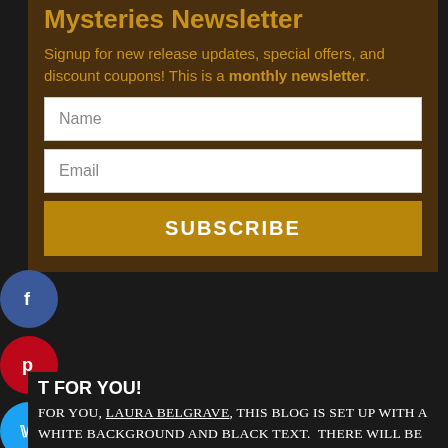Mysteries Newsletter
Signup for new release updates, special offers, and discount coupons! This is a monthly newsletter.
[Figure (infographic): Newsletter signup form with Name and Email input fields and a SUBSCRIBE button]
[Figure (infographic): Vertical stack of social media share buttons: Facebook (blue), Pinterest (red), Twitter (light blue), Reddit (orange), LinkedIn (blue), Email (gray)]
T FOR YOU!
FOR YOU, LAURA BELGRAVE, THIS BLOG IS SET UP WITH A WHITE BACKGROUND AND BLACK TEXT. THERE WILL BE NO MORE COMPLAINTS ABOUT MY PREFERENCE — A REAL PREFERENCE, BY THE